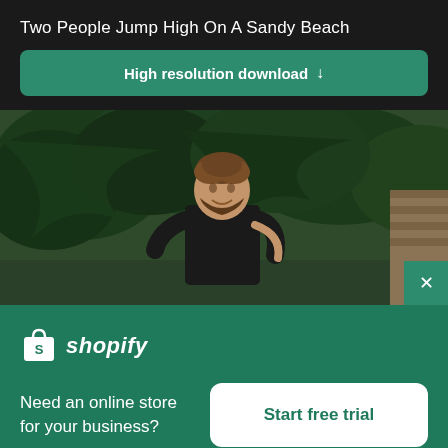Two People Jump High On A Sandy Beach
High resolution download ↓
[Figure (photo): A man with curly hair and a beard wearing a black t-shirt, standing outdoors in front of lush green trees and foliage, smiling at the camera.]
×
[Figure (logo): Shopify logo: shopping bag icon with letter S and the word shopify in italic white text]
Need an online store for your business?
Start free trial